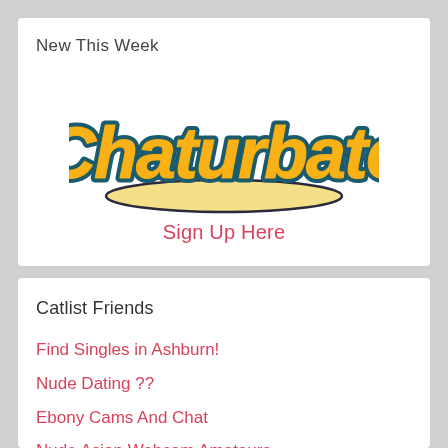New This Week
[Figure (logo): Chaturbate logo in orange cursive script with teal/dark outline and cream underline swoosh]
Sign Up Here
Catlist Friends
Find Singles in Ashburn!
Nude Dating ??
Ebony Cams And Chat
Nude Asian Webcam Amateurs
Male Webcam Models Access